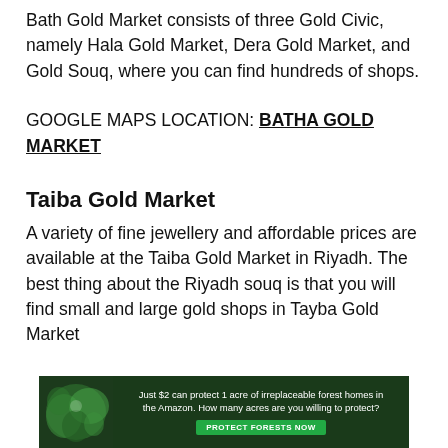Bath Gold Market consists of three Gold Civic, namely Hala Gold Market, Dera Gold Market, and Gold Souq, where you can find hundreds of shops.
GOOGLE MAPS LOCATION: BATHA GOLD MARKET
Taiba Gold Market
A variety of fine jewellery and affordable prices are available at the Taiba Gold Market in Riyadh. The best thing about the Riyadh souq is that you will find small and large gold shops in Tayba Gold Market
[Figure (other): Advertisement banner: 'Just $2 can protect 1 acre of irreplaceable forest homes in the Amazon. How many acres are you willing to protect?' with a green 'PROTECT FORESTS NOW' button]